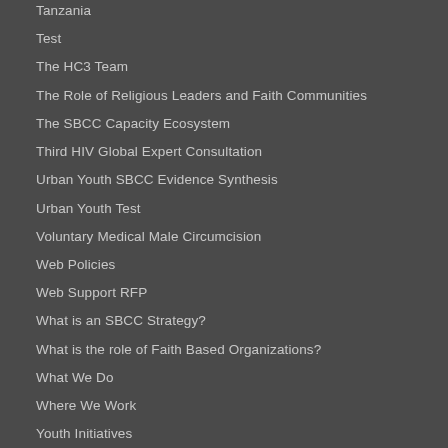Tanzania
Test
The HC3 Team
The Role of Religious Leaders and Faith Communities
The SBCC Capacity Ecosystem
Third HIV Global Expert Consultation
Urban Youth SBCC Evidence Synthesis
Urban Youth Test
Voluntary Medical Male Circumcision
Web Policies
Web Support RFP
What is an SBCC Strategy?
What is the role of Faith Based Organizations?
What We Do
Where We Work
Youth Initiatives
Zika